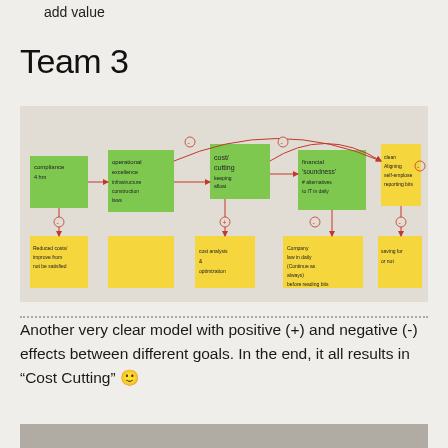add value
Team 3
[Figure (photo): Photo of a whiteboard with sticky notes (green and yellow) arranged in a causal diagram showing relationships between goals like Compliance, Operational Excellence, Cost Cutting, Financial Soundness, and others, connected by curved arrows with positive (+) and negative (-) signs.]
Another very clear model with positive (+) and negative (-) effects between different goals. In the end, it all results in “Cost Cutting” 🙂